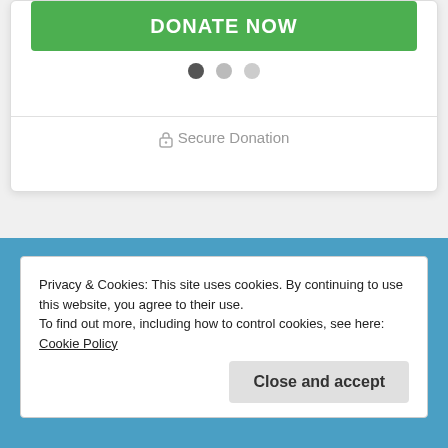[Figure (screenshot): Green Donate Now button (partially visible at top of a white card widget)]
[Figure (screenshot): Carousel dot indicators: one dark dot (active), two light gray dots]
Secure Donation
Privacy & Cookies: This site uses cookies. By continuing to use this website, you agree to their use.
To find out more, including how to control cookies, see here: Cookie Policy
Close and accept